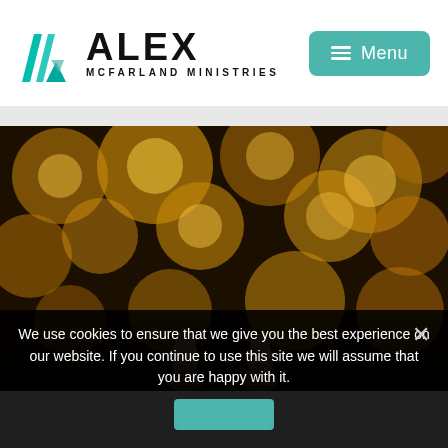[Figure (logo): Alex McFarland Ministries logo with teal geometric mark and bold ALEX text]
Menu
[Figure (photo): Bokeh photo with golden blurred circles of light in background and two figurines in foreground]
We use cookies to ensure that we give you the best experience on our website. If you continue to use this site we will assume that you are happy with it.